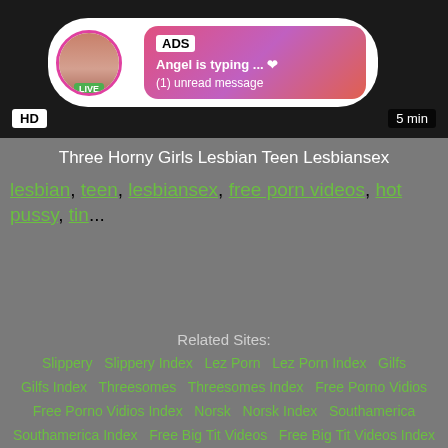[Figure (screenshot): Video thumbnail with ad overlay showing a live chat notification. HD badge bottom-left, 5 min duration bottom-right.]
Three Horny Girls Lesbian Teen Lesbiansex
lesbian, teen, lesbiansex, free porn videos, hot pussy, tin...
Related Sites:
Slippery  Slippery Index  Lez Porn  Lez Porn Index  Gilfs  Gilfs Index  Threesomes  Threesomes Index  Free Porno Vidios  Free Porno Vidios Index  Norsk  Norsk Index  Southamerica  Southamerica Index  Free Big Tit Videos  Free Big Tit Videos Index  Huge Breasts  Huge Breasts Index  Face Sitting  Face Sitting Index